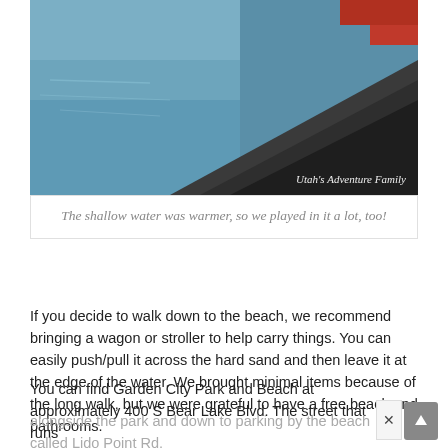[Figure (photo): A photo of a dark sandy beach with shallow blue water and a red object in the upper right corner. Watermark reads 'Utah's Adventure Family'.]
The shallow water was warmer, so we played in it a lot, too!
If you decide to walk down to the beach, we recommend bringing a wagon or stroller to help carry things. You can easily push/pull it across the hard sand and then leave it at the edge of the water. We brought minimal items because of the long walk, but we were grateful to have a free beach and bathrooms.
You can find Garden City Park and Beach at approximately 400 S Bear Lake Blvd. The street that runs alongside the park and down to parking by the beach called Lido Point Rd.